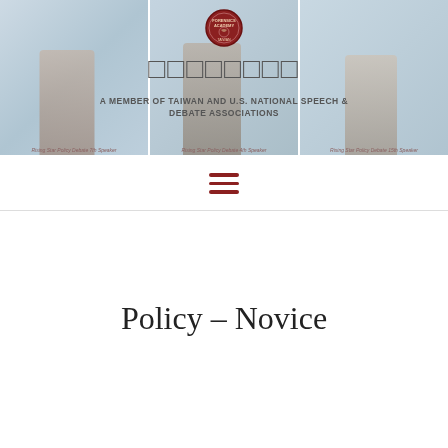[Figure (photo): Header banner with three photos of students at a school/debate event, with organization logo and name in center]
A MEMBER OF TAIWAN AND U.S. NATIONAL SPEECH & DEBATE ASSOCIATIONS
[Figure (other): Hamburger menu icon with three dark red horizontal lines]
Policy – Novice